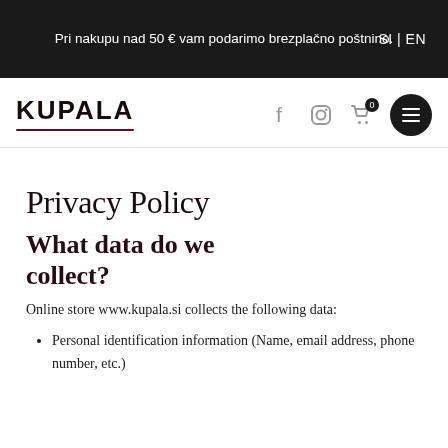Pri nakupu nad 50 € vam podarimo brezplačno poštnino.
SI | EN
[Figure (logo): KUPALA logo with underline decoration, social media icons (Facebook, Instagram), cart icon with badge showing 0, and hamburger menu button]
Privacy Policy
What data do we collect?
Online store www.kupala.si collects the following data:
Personal identification information (Name, email address, phone number, etc.)